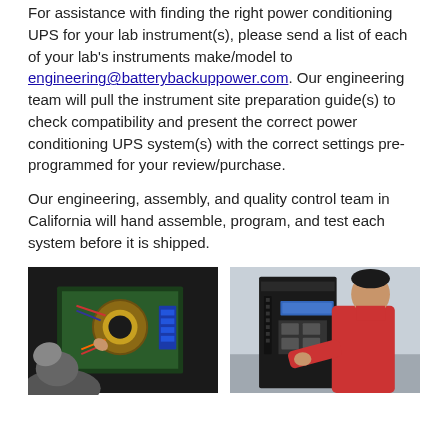For assistance with finding the right power conditioning UPS for your lab instrument(s), please send a list of each of your lab's instruments make/model to engineering@batterybackuppower.com. Our engineering team will pull the instrument site preparation guide(s) to check compatibility and present the correct power conditioning UPS system(s) with the correct settings pre-programmed for your review/purchase.
Our engineering, assembly, and quality control team in California will hand assemble, program, and test each system before it is shipped.
[Figure (photo): Technician working inside an open UPS unit, showing green circuit board with wiring, circular toroidal component, and blue terminal blocks.]
[Figure (photo): Technician in red shirt working on back panel of a black UPS tower unit in a workshop setting.]